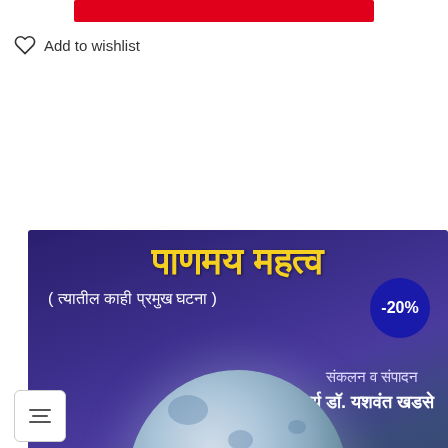[Figure (other): Red promotional banner bar at top of page]
Add to wishlist
[Figure (photo): Book cover with dark purple/blue background showing Marathi text title in yellow, subtitle in white, discount badge -20%, compiler name Prachary Dr. Yashwant Khadse, and large full moon image at bottom]
[Figure (other): Filter/settings button icon with three horizontal lines]